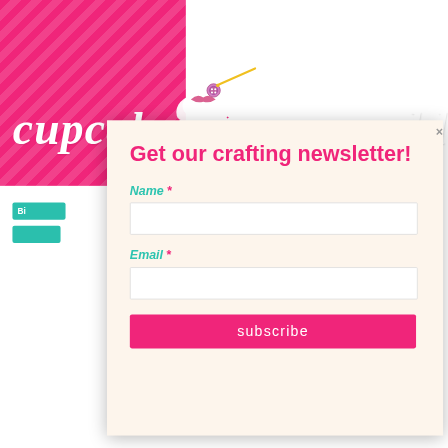[Figure (screenshot): Pink diagonal-striped website background showing partial cupcakes and lace website with teal buttons, overlaid by a newsletter signup modal dialog. The modal has a cream/beige background with 'Get our crafting newsletter!' heading in pink, Name and Email fields in teal italic labels with asterisks in pink, white input boxes, and a pink subscribe button. A gray × close button appears top right of modal.]
Get our crafting newsletter!
Name *
Email *
subscribe